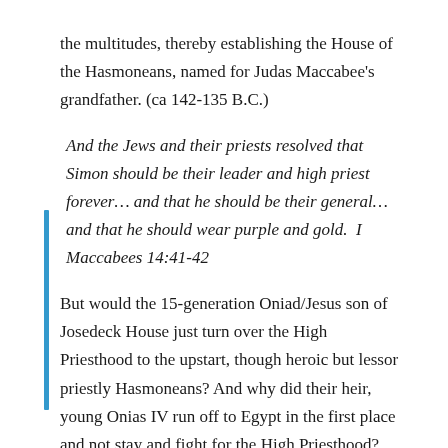the multitudes, thereby establishing the House of the Hasmoneans, named for Judas Maccabee's grandfather. (ca 142-135 B.C.)
And the Jews and their priests resolved that Simon should be their leader and high priest forever… and that he should be their general…and that he should wear purple and gold.  I Maccabees 14:41-42
But would the 15-generation Oniad/Jesus son of Josedeck House just turn over the High Priesthood to the upstart, though heroic but lessor priestly Hasmoneans? And why did their heir, young Onias IV run off to Egypt in the first place and not stay and fight for the High Priesthood? Perhaps Onias IV was unfit to